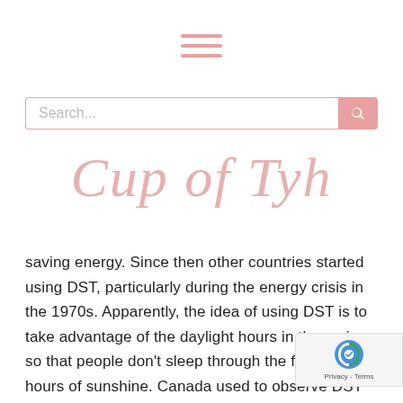[Figure (other): Hamburger menu icon with three horizontal pink lines]
[Figure (other): Search bar with pink border and pink search button icon]
Cup of Tyh
saving energy. Since then other countries started using DST, particularly during the energy crisis in the 1970s. Apparently, the idea of using DST is to take advantage of the daylight hours in the spring so that people don't sleep through the first few hours of sunshine. Canada used to observe DST in the first Sunday in April until the last Sunday in October. However, through legislation passed in 2006, the start of DST was moved to the second Sunday in March and ends on the first Sunday in November, which kept Canada's DST pattern consistent